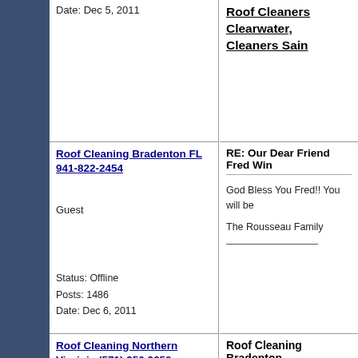Date: Dec 5, 2011
Roof Cleaners Clearwater, Cleaners Sain
Roof Cleaning Bradenton FL 941-822-2454
RE: Our Dear Friend Fred Win
God Bless You Fred!! You will be
The Rousseau Family
Guest
Status: Offline
Posts: 1486
Date: Dec 6, 2011
Roof Cleaning Northern Virginia (571) 250 9650
[Figure (logo): American-ProTech Exterior Solutions logo with eagle and American flag design]
Roof Cleaning Bradenton
God Bless You Fred!! You
The Rousseau Family